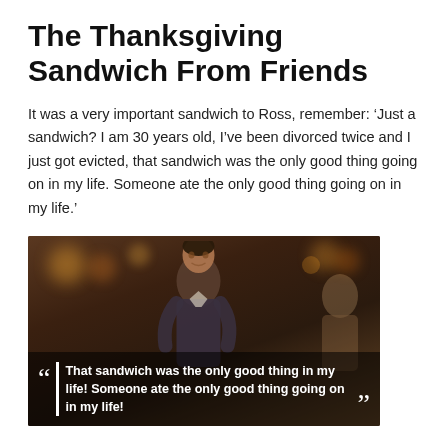The Thanksgiving Sandwich From Friends
It was a very important sandwich to Ross, remember: ‘Just a sandwich? I am 30 years old, I’ve been divorced twice and I just got evicted, that sandwich was the only good thing going on in my life. Someone ate the only good thing going on in my life.’
[Figure (photo): A still from the TV show Friends showing Ross (David Schwimmer) speaking in a bar/restaurant setting. A subtitle overlay at the bottom reads: “That sandwich was the only good thing in my life! Someone ate the only good thing going on in my life!” with large quotation marks on either side.]